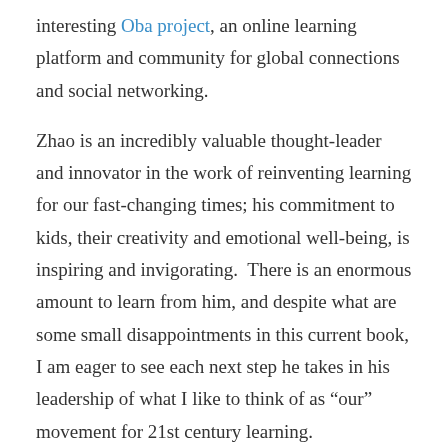interesting Oba project, an online learning platform and community for global connections and social networking.
Zhao is an incredibly valuable thought-leader and innovator in the work of reinventing learning for our fast-changing times; his commitment to kids, their creativity and emotional well-being, is inspiring and invigorating. There is an enormous amount to learn from him, and despite what are some small disappointments in this current book, I am eager to see each next step he takes in his leadership of what I like to think of as “our” movement for 21st century learning.
Share this:
Facebook  Email  Twitter  Pinterest  Tumblr